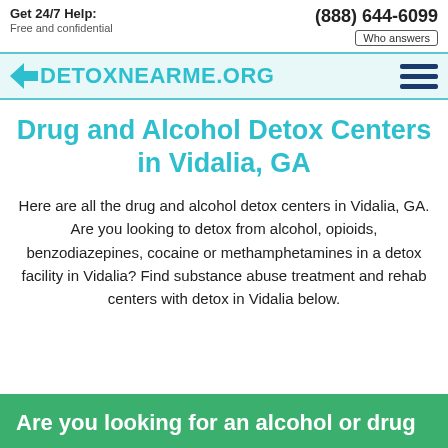Get 24/7 Help: Free and confidential | (888) 644-6099 | Who answers
DetoxNearMe.org
Drug and Alcohol Detox Centers in Vidalia, GA
Here are all the drug and alcohol detox centers in Vidalia, GA. Are you looking to detox from alcohol, opioids, benzodiazepines, cocaine or methamphetamines in a detox facility in Vidalia? Find substance abuse treatment and rehab centers with detox in Vidalia below.
Are you looking for an alcohol or drug